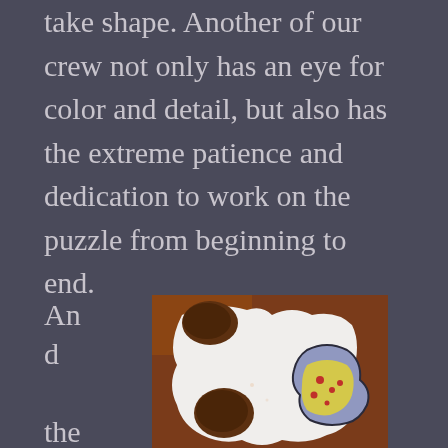take shape.  Another of our crew not only has an eye for color and detail, but also has the extreme patience and dedication to work on the puzzle from beginning to end.
And the p
[Figure (photo): Close-up photograph of a jigsaw puzzle piece showing white puzzle piece with dark brown indentations/holes and a partially visible piece with blue and yellow coloring with red dots, on a brown wooden table surface.]